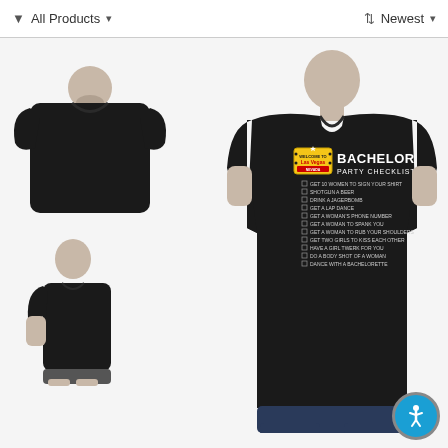All Products  ▾    ↕ Newest  ▾
[Figure (photo): Three views of a black t-shirt: back view (upper left), side view (lower left), and front view (right) showing a 'Bachelor Party Checklist' Las Vegas themed graphic print with checkboxes listing party activities.]